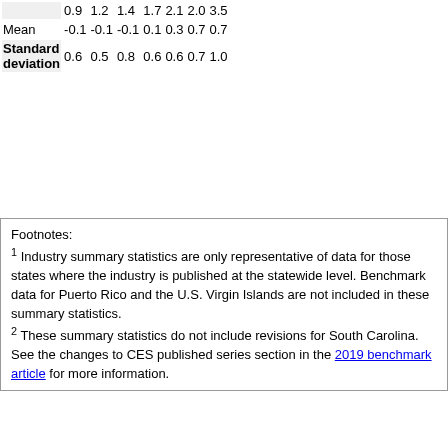|  | Mar. 2016 | Mar. 2017 | Mar. 2018 | Mar. 2019 | Mar. 2020 | Mar. 2021 | Dec. 2021 |
| --- | --- | --- | --- | --- | --- | --- | --- |
|  | 0.9 | 1.2 | 1.4 | 1.7 | 2.1 | 2.0 | 3.5 |
| Mean | -0.1 | -0.1 | -0.1 | 0.1 | 0.3 | 0.7 | 0.7 |
| Standard deviation | 0.6 | 0.5 | 0.8 | 0.6 | 0.6 | 0.7 | 1.0 |
Footnotes:
1 Industry summary statistics are only representative of data for those states where the industry is published at the statewide level. Benchmark data for Puerto Rico and the U.S. Virgin Islands are not included in these summary statistics.
2 These summary statistics do not include revisions for South Carolina. See the changes to CES published series section in the 2019 benchmark article for more information.
To Table of Figures
Table A2. Average absolute level differences between state employment estimates and benchmarks by industry, not seasonally adjusted, March 2016 - March 2021 and December 2021 (all values payroll employment)
| Industry1 | Mar. 2016 | Mar. 2017 | Mar. 20182 | Mar. 2019 |
| --- | --- | --- | --- | --- |